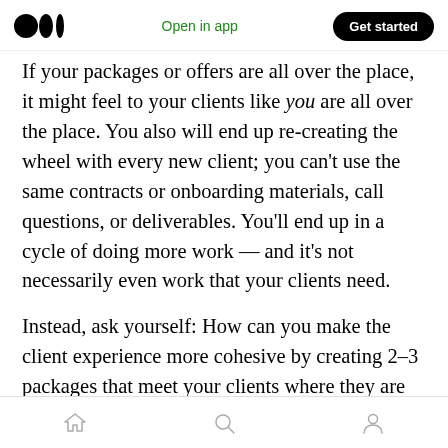Medium logo | Open in app | Get started
If your packages or offers are all over the place, it might feel to your clients like you are all over the place. You also will end up re-creating the wheel with every new client; you can't use the same contracts or onboarding materials, call questions, or deliverables. You'll end up in a cycle of doing more work — and it's not necessarily even work that your clients need.
Instead, ask yourself: How can you make the client experience more cohesive by creating 2–3 packages that meet your clients where they are right now? And how can you shift all of your
Home | Search | Profile